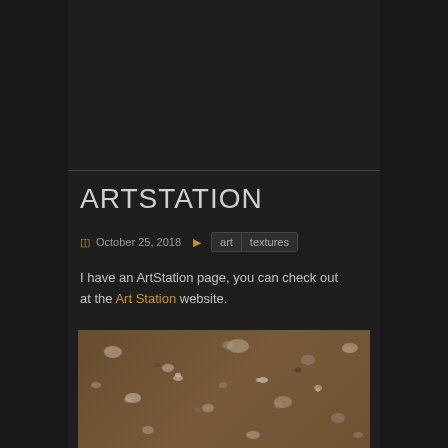ARTSTATION
October 25, 2018  art  textures
I have an ArtStation page, you can check out at the Art Station website.
[Figure (photo): Close-up photograph of a dirt and gravel ground texture with small rocks and pebbles on sandy/earthy surface]